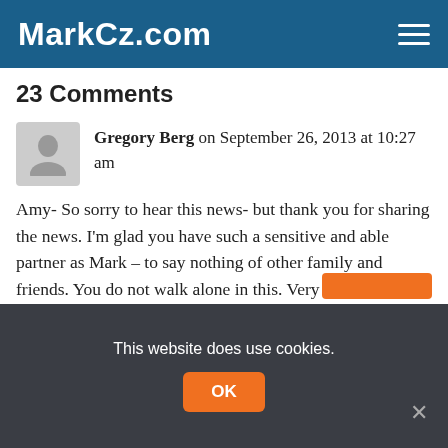MarkCz.com
23 Comments
Gregory Berg on September 26, 2013 at 10:27 am

Amy- So sorry to hear this news- but thank you for sharing the news. I'm glad you have such a sensitive and able partner as Mark – to say nothing of other family and friends. You do not walk alone in this. Very best wishes in all that unfolds from here. GB
Loading...
This website does use cookies.